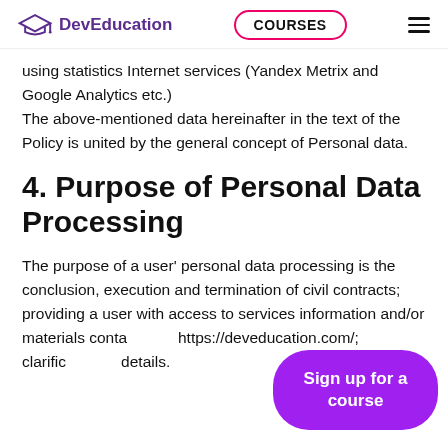DevEducation | COURSES
using statistics Internet services (Yandex Metrix and Google Analytics etc.) The above-mentioned data hereinafter in the text of the Policy is united by the general concept of Personal data.
4. Purpose of Personal Data Processing
The purpose of a user' personal data processing is the conclusion, execution and termination of civil contracts; providing a user with access to services information and/or materials conta… https://deveducation.com/; clarific… details.
[Figure (other): Purple 'Sign up for a course' floating button]